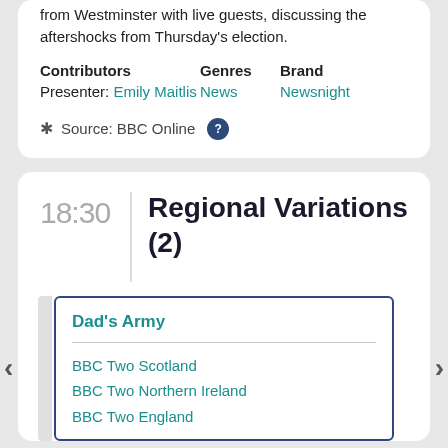from Westminster with live guests, discussing the aftershocks from Thursday's election.
Contributors: Presenter: Emily Maitlis    Genres: News    Brand: Newsnight
Source: BBC Online
18:30
Regional Variations (2)
Dad's Army
BBC Two Scotland
BBC Two Northern Ireland
BBC Two England